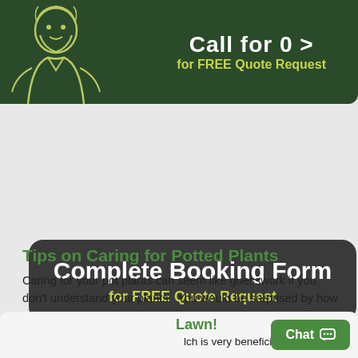[Figure (illustration): Dark green banner with illustrated man and text 'for FREE Quote Request' in yellow-green]
Complete Booking Form
for FREE Quote Request
Tips on Caring for Potted Plants
Caring for your pot plants can seem like guesswork if you don't understand your plants.  You would be surprised by how many pot plants have perished due to guesswork,
Lawn!
lch is very beneficial fo
Chat